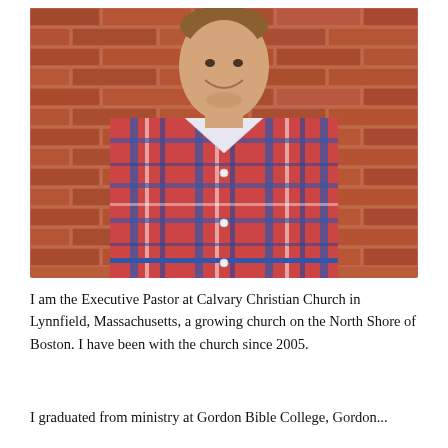[Figure (photo): Portrait photo of a smiling man in a red, blue, and white plaid shirt standing in front of a red brick wall.]
I am the Executive Pastor at Calvary Christian Church in Lynnfield, Massachusetts, a growing church on the North Shore of Boston. I have been with the church since 2005.
I graduated from ministry at Gordon Bible College, Gordon...